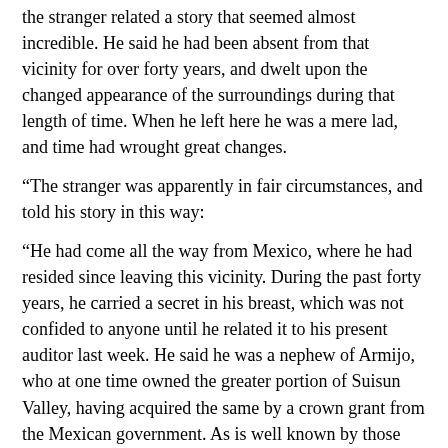the stranger related a story that seemed almost incredible. He said he had been absent from that vicinity for over forty years, and dwelt upon the changed appearance of the surroundings during that length of time. When he left here he was a mere lad, and time had wrought great changes.
“The stranger was apparently in fair circumstances, and told his story in this way:
“He had come all the way from Mexico, where he had resided since leaving this vicinity. During the past forty years, he carried a secret in his breast, which was not confided to anyone until he related it to his present auditor last week. He said he was a nephew of Armijo, who at one time owned the greater portion of Suisun Valley, having acquired the same by a crown grant from the Mexican government. As is well known by those familiar with the early history of Solano County, Armijo was a man of great wealth, and while he lived in comfortable circumstances, it was always a mystery to those who knew of his wealth, as to what he had done with his money. The nephew, whose name has not been divulged, comes at this late day and unravels the mystery.
“It appears the stranger was Armijo’s favorite nephew, and previous to his departure with his parent to Mexico, his aged uncle, whose health was fast declining, imparted a secret to him as regarded the location of his wealth. Before leaving, Armijo took